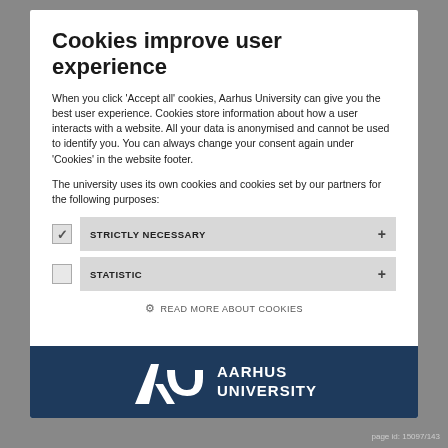Cookies improve user experience
When you click 'Accept all' cookies, Aarhus University can give you the best user experience. Cookies store information about how a user interacts with a website. All your data is anonymised and cannot be used to identify you. You can always change your consent again under 'Cookies' in the website footer.
The university uses its own cookies and cookies set by our partners for the following purposes:
STRICTLY NECESSARY
STATISTIC
READ MORE ABOUT COOKIES
[Figure (logo): Aarhus University logo with text AARHUS UNIVERSITY on dark navy background]
page id: 15097/143